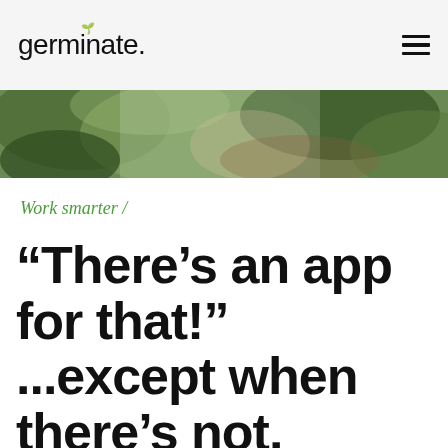germinate.
[Figure (photo): Blurred outdoor greenery and plants, used as hero banner image]
Work smarter /
“There’s an app for that!” ...except when there’s not.